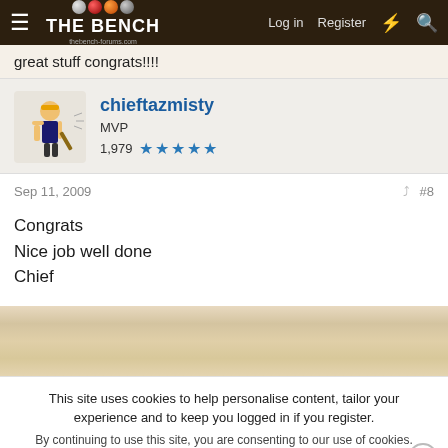THE BENCH | Log in | Register
great stuff congrats!!!!
chieftazmisty
MVP
1,979 ★★★★★
Sep 11, 2009  #8
Congrats
Nice job well done
Chief
This site uses cookies to help personalise content, tailor your experience and to keep you logged in if you register.
By continuing to use this site, you are consenting to our use of cookies.